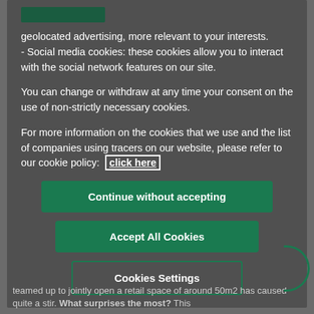geolocated advertising, more relevant to your interests.
- Social media cookies: these cookies allow you to interact with the social network features on our site.
You can change or withdraw at any time your consent on the use of non-strictly necessary cookies.
For more information on the cookies that we use and the list of companies using tracers on our website, please refer to our cookie policy: click here
[Figure (screenshot): Green button labeled 'Continue without accepting']
[Figure (screenshot): Green button labeled 'Accept All Cookies']
[Figure (screenshot): Outlined green button labeled 'Cookies Settings']
teamed up to jointly open a retail space of around 50m2 has caused quite a stir. What surprises the most? This